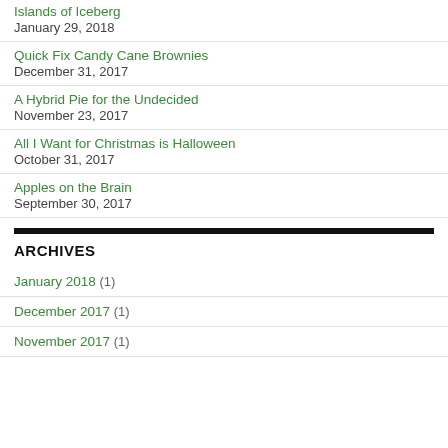Islands of Iceberg
January 29, 2018
Quick Fix Candy Cane Brownies
December 31, 2017
A Hybrid Pie for the Undecided
November 23, 2017
All I Want for Christmas is Halloween
October 31, 2017
Apples on the Brain
September 30, 2017
ARCHIVES
January 2018 (1)
December 2017 (1)
November 2017 (1)